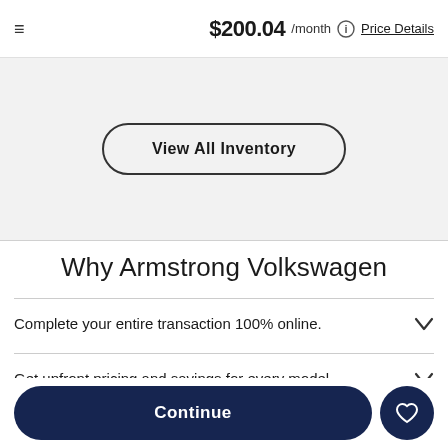$200.04 /month  Price Details
View All Inventory
Why Armstrong Volkswagen
Complete your entire transaction 100% online.
Get upfront pricing and savings for every model.
Continue